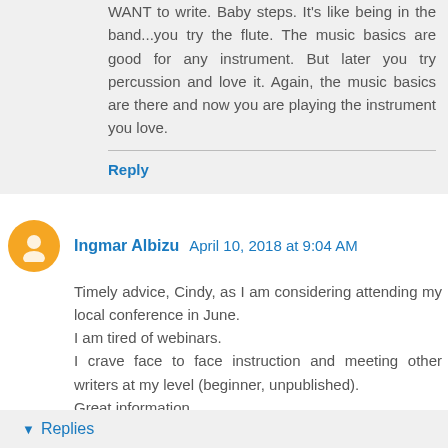WANT to write. Baby steps. It's like being in the band...you try the flute. The music basics are good for any instrument. But later you try percussion and love it. Again, the music basics are there and now you are playing the instrument you love.
Reply
Ingmar Albizu  April 10, 2018 at 9:04 AM
Timely advice, Cindy, as I am considering attending my local conference in June.
I am tired of webinars.
I crave face to face instruction and meeting other writers at my level (beginner, unpublished).
Great information.
Reply
Replies